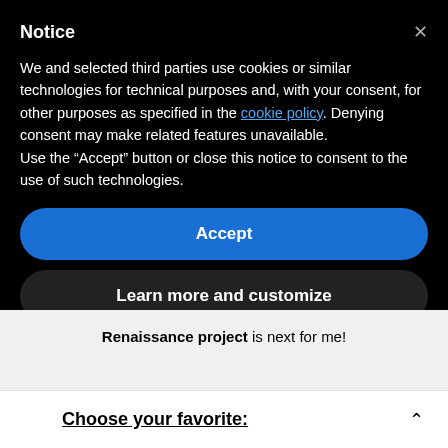Notice
We and selected third parties use cookies or similar technologies for technical purposes and, with your consent, for other purposes as specified in the cookie policy. Denying consent may make related features unavailable.
Use the “Accept” button or close this notice to consent to the use of such technologies.
Accept
Learn more and customize
Renaissance project is next for me!
Choose your favorite: